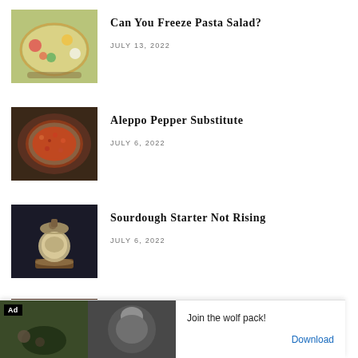[Figure (photo): Bowl of pasta salad with colorful vegetables]
Can You Freeze Pasta Salad?
JULY 13, 2022
[Figure (photo): Bowl of red Aleppo pepper flakes]
Aleppo Pepper Substitute
JULY 6, 2022
[Figure (photo): Sourdough starter jar on wooden surface with dark background]
Sourdough Starter Not Rising
JULY 6, 2022
[Figure (photo): Partial image — What Is Semi-Sweet Chocolate article thumbnail]
What Is Semi-Sweet Chocolate?
[Figure (photo): Advertisement: Join the wolf pack! — wolf and nature imagery with Download button]